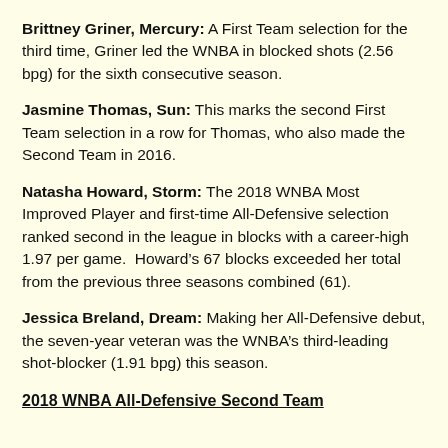Brittney Griner, Mercury: A First Team selection for the third time, Griner led the WNBA in blocked shots (2.56 bpg) for the sixth consecutive season.
Jasmine Thomas, Sun: This marks the second First Team selection in a row for Thomas, who also made the Second Team in 2016.
Natasha Howard, Storm: The 2018 WNBA Most Improved Player and first-time All-Defensive selection ranked second in the league in blocks with a career-high 1.97 per game.  Howard’s 67 blocks exceeded her total from the previous three seasons combined (61).
Jessica Breland, Dream: Making her All-Defensive debut, the seven-year veteran was the WNBA’s third-leading shot-blocker (1.91 bpg) this season.
2018 WNBA All-Defensive Second Team